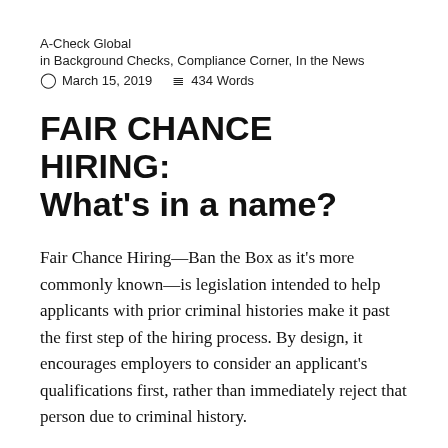A-Check Global
in Background Checks, Compliance Corner, In the News
🕐 March 15, 2019    ≡ 434 Words
FAIR CHANCE HIRING: What's in a name?
Fair Chance Hiring—Ban the Box as it's more commonly known—is legislation intended to help applicants with prior criminal histories make it past the first step of the hiring process. By design, it encourages employers to consider an applicant's qualifications first, rather than immediately reject that person due to criminal history.
Prior to 2009, only Hawaii had Ban the Box legislation in place. Currently, 35 states and more than 150 cities/counties have enacted laws that